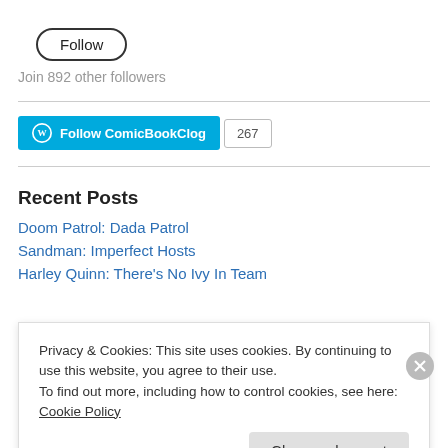[Figure (other): Follow button — rounded rectangle button with text 'Follow']
Join 892 other followers
[Figure (other): WordPress Follow ComicBookClog button with count badge showing 267]
Recent Posts
Doom Patrol: Dada Patrol
Sandman: Imperfect Hosts
Harley Quinn: There's No Ivy In Team
Privacy & Cookies: This site uses cookies. By continuing to use this website, you agree to their use.
To find out more, including how to control cookies, see here: Cookie Policy
Close and accept